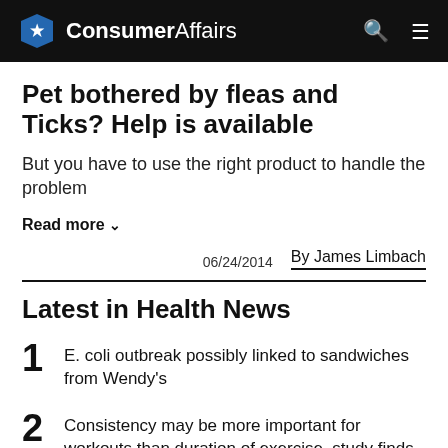ConsumerAffairs
Pet bothered by fleas and Ticks? Help is available
But you have to use the right product to handle the problem
Read more ∨
06/24/2014   By James Limbach
Latest in Health News
1  E. coli outbreak possibly linked to sandwiches from Wendy's
2  Consistency may be more important for workouts than duration of exercise, study finds